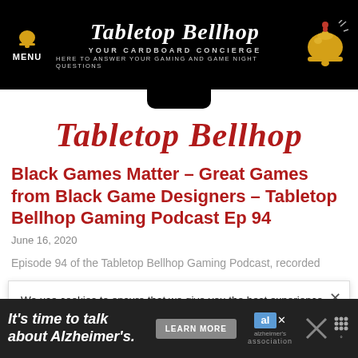[Figure (logo): Tabletop Bellhop website header with black background, menu icon, white script logo text 'Tabletop Bellhop', taglines 'YOUR CARDBOARD CONCIERGE' and 'HERE TO ANSWER YOUR GAMING AND GAME NIGHT QUESTIONS', and a golden bell icon on the right]
[Figure (logo): Tabletop Bellhop red script logo on white background]
Black Games Matter – Great Games from Black Game Designers – Tabletop Bellhop Gaming Podcast Ep 94
June 16, 2020
Episode 94 of the Tabletop Bellhop Gaming Podcast, recorded
We use cookies to ensure that we give you the best experience on Tabletop Bellhop. If you continue to use this site we will assume that you are happy with it.
[Figure (advertisement): Ad banner: 'It's time to talk about Alzheimer's.' with LEARN MORE button and Alzheimer's Association logo]